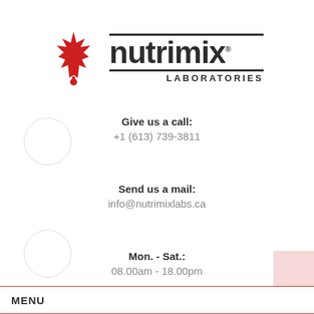[Figure (logo): Nutrimix Laboratories logo with red maple leaf and bold dark lettering]
Give us a call:
+1 (613) 739-3811
Send us a mail:
info@nutrimixlabs.ca
Mon. - Sat.:
08.00am - 18.00pm
MENU